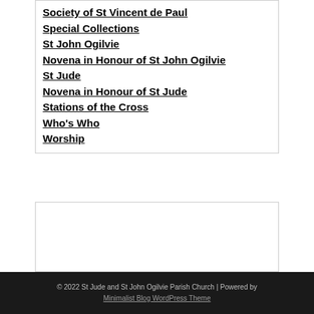Society of St Vincent de Paul
Special Collections
St John Ogilvie
Novena in Honour of St John Ogilvie
St Jude
Novena in Honour of St Jude
Stations of the Cross
Who's Who
Worship
© 2022 St Jude and St John Ogilvie Parish Church | Powered by Minimalist Blog WordPress Theme